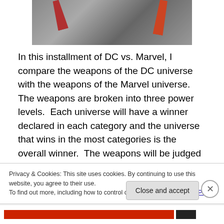[Figure (photo): Partial view of a comic book image showing rocks/stones and character elements (red/orange axe or weapon handles visible against grey rocky ground)]
In this installment of DC vs. Marvel, I compare the weapons of the DC universe with the weapons of the Marvel universe.  The weapons are broken into three power levels.  Each universe will have a winner declared in each category and the universe that wins in the most categories is the overall winner.  The weapons will be judged in the areas of aesthetic, conceptual and/or utilitarian design.  In other words, which universe has the
Privacy & Cookies: This site uses cookies. By continuing to use this website, you agree to their use.
To find out more, including how to control cookies, see here: Cookie Policy
Close and accept